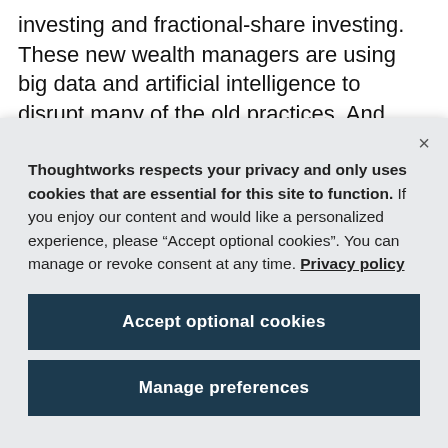investing and fractional-share investing. These new wealth managers are using big data and artificial intelligence to disrupt many of the old practices. And they're gaining market share. Also, with big tech firms such as Amazon and Alibaba having plans to foray
Thoughtworks respects your privacy and only uses cookies that are essential for this site to function. If you enjoy our content and would like a personalized experience, please “Accept optional cookies”. You can manage or revoke consent at any time. Privacy policy
Accept optional cookies
Manage preferences